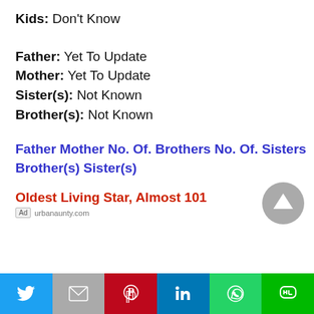Kids: Don't Know
Father: Yet To Update
Mother: Yet To Update
Sister(s): Not Known
Brother(s): Not Known
Father Mother No. Of. Brothers No. Of. Sisters Brother(s) Sister(s)
Oldest Living Star, Almost 101
Ad urbanaunty.com